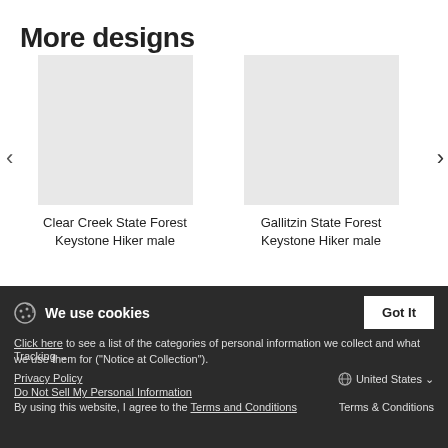More designs
[Figure (other): Carousel showing two product cards: 'Clear Creek State Forest Keystone Hiker male' and 'Gallitzin State Forest Keystone Hiker male', with navigation arrows and pagination dots]
Clear Creek State Forest Keystone Hiker male
Gallitzin State Forest Keystone Hiker male
Click here to see a list of the categories of personal information we collect and what we use them for ("Notice at Collection").
Privacy Policy
Do Not Sell My Personal Information
By using this website, I agree to the Terms and Conditions